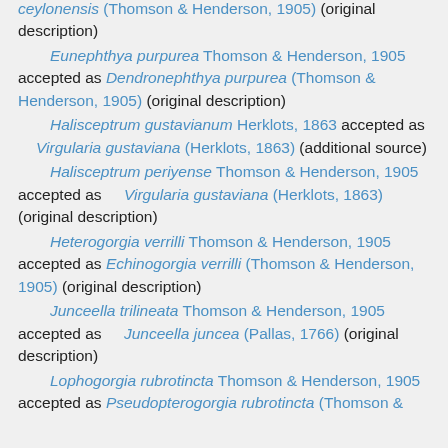ceylonensis (Thomson & Henderson, 1905) (original description)
Eunephthya purpurea Thomson & Henderson, 1905 accepted as Dendronephthya purpurea (Thomson & Henderson, 1905) (original description)
Halisceptrum gustavianum Herklots, 1863 accepted as Virgularia gustaviana (Herklots, 1863) (additional source)
Halisceptrum periyense Thomson & Henderson, 1905 accepted as Virgularia gustaviana (Herklots, 1863) (original description)
Heterogorgia verrilli Thomson & Henderson, 1905 accepted as Echinogorgia verrilli (Thomson & Henderson, 1905) (original description)
Junceella trilineata Thomson & Henderson, 1905 accepted as Junceella juncea (Pallas, 1766) (original description)
Lophogorgia rubrotincta Thomson & Henderson, 1905 accepted as Pseudopterogorgia rubrotincta (Thomson &